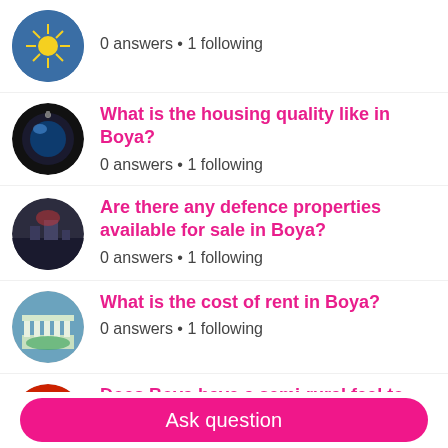0 answers • 1 following
What is the housing quality like in Boya?
0 answers • 1 following
Are there any defence properties available for sale in Boya?
0 answers • 1 following
What is the cost of rent in Boya?
0 answers • 1 following
Does Boya have a semi-rural feel to the area?
0 answers • 1 following
Where is the closest bike track to Boya?